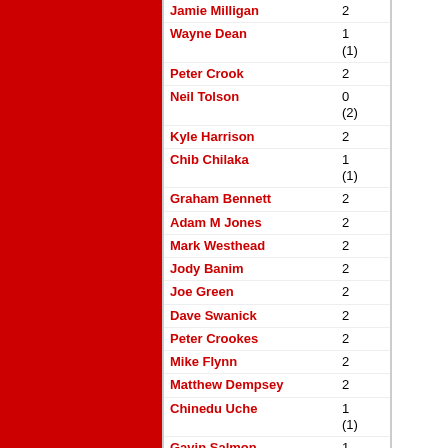| Player | Apps |
| --- | --- |
| Jamie Milligan | 2 |
| Wayne Dean | 1
(1) |
| Peter Crook | 2 |
| Neil Tolson | 0
(2) |
| Kyle Harrison | 2 |
| Chib Chilaka | 1
(1) |
| Graham Bennett | 2 |
| Adam M Jones | 2 |
| Mark Westhead | 2 |
| Jody Banim | 2 |
| Joe Green | 2 |
| Dave Swanick | 2 |
| Peter Crookes | 2 |
| Mike Flynn | 2 |
| Matthew Dempsey | 2 |
| Chinedu Uche | 1
(1) |
| Gavin Salmon | 1
(1) |
| Lloyd Richardson | 1
(1) |